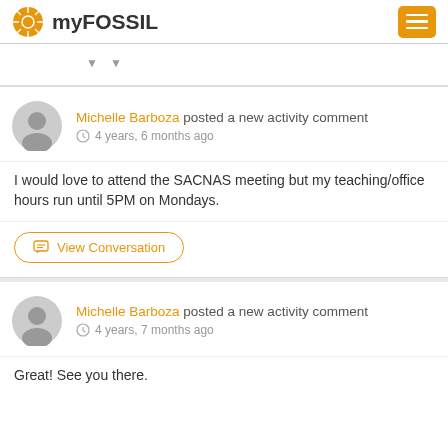myFOSSIL
Michelle Barboza posted a new activity comment
4 years, 6 months ago
I would love to attend the SACNAS meeting but my teaching/office hours run until 5PM on Mondays.
View Conversation
Michelle Barboza posted a new activity comment
4 years, 7 months ago
Great! See you there.